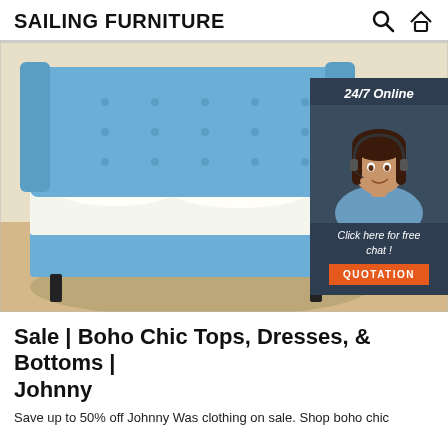SAILING FURNITURE
[Figure (photo): Blue tufted upholstered bed with high wingback headboard, white bedding, on light wood floor with a gray rug. Overlaid with a dark navy panel showing a customer service agent with headset, text '24/7 Online', 'Click here for free chat!', and an orange QUOTATION button.]
Sale | Boho Chic Tops, Dresses, & Bottoms | Johnny
Save up to 50% off Johnny Was clothing on sale. Shop boho chic